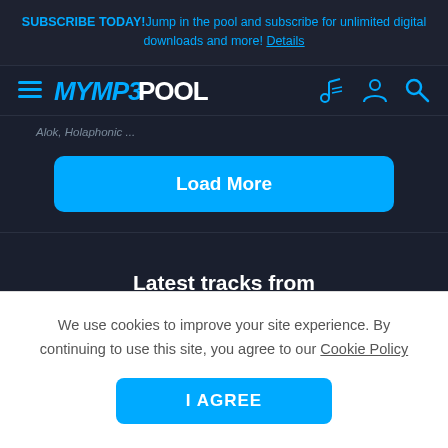SUBSCRIBE TODAY! Jump in the pool and subscribe for unlimited digital downloads and more! Details
[Figure (logo): MyMP3Pool logo with hamburger menu icon on left and music/person/search icons on right]
Alok, Holaphonic ...
Load More
Latest tracks from
We use cookies to improve your site experience. By continuing to use this site, you agree to our Cookie Policy
I AGREE